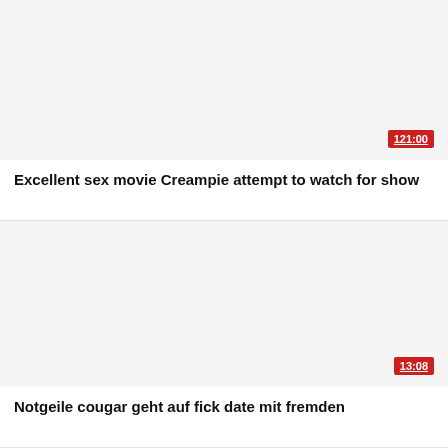[Figure (screenshot): Video thumbnail placeholder, light gray background]
121:00
Excellent sex movie Creampie attempt to watch for show
[Figure (screenshot): Video thumbnail placeholder, light gray background]
13:08
Notgeile cougar geht auf fick date mit fremden